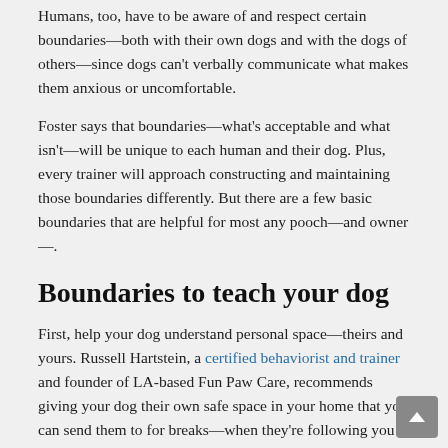Humans, too, have to be aware of and respect certain boundaries—both with their own dogs and with the dogs of others—since dogs can't verbally communicate what makes them anxious or uncomfortable.
Foster says that boundaries—what's acceptable and what isn't—will be unique to each human and their dog. Plus, every trainer will approach constructing and maintaining those boundaries differently. But there are a few basic boundaries that are helpful for most any pooch—and owner—.
Boundaries to teach your dog
First, help your dog understand personal space—theirs and yours. Russell Hartstein, a certified behaviorist and trainer and founder of LA-based Fun Paw Care, recommends giving your dog their own safe space in your home that you can send them to for breaks—when they're following you around too much, for example.
Foster says this is part of teaching dogs to relax in the house and drawing a boundary between work (or play) and rest. This